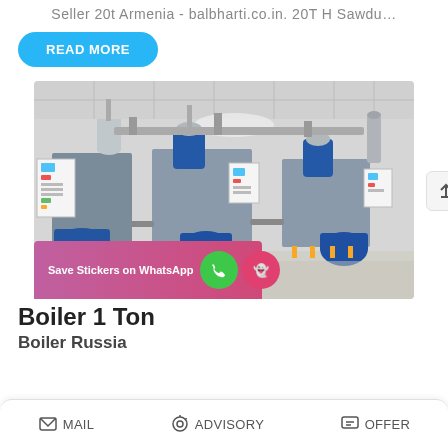Seller 20t Armenia - balbharti.co.in. 20T H Sawdu…
READ MORE
[Figure (photo): Industrial boiler room with multiple large steam boilers (blue and steel) mounted on a white tiled floor, with control panels, pipes, and yellow-painted mounts visible.]
Save Stickers on WhatsApp
Boiler 1 Ton
Boiler Russia
MAIL   ADVISORY   OFFER